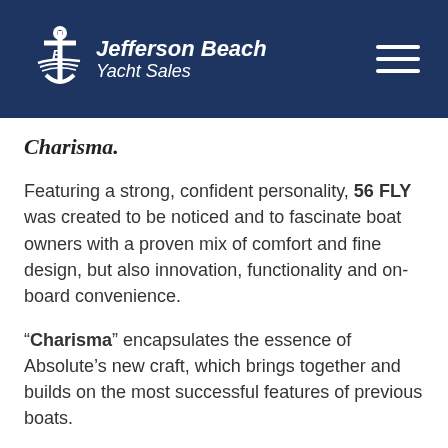Jefferson Beach Yacht Sales
Charisma.
Featuring a strong, confident personality, 56 FLY was created to be noticed and to fascinate boat owners with a proven mix of comfort and fine design, but also innovation, functionality and on-board convenience.
“Charisma” encapsulates the essence of Absolute’s new craft, which brings together and builds on the most successful features of previous boats.